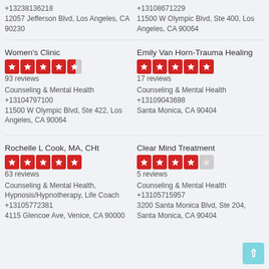+13238136218
12057 Jefferson Blvd, Los Angeles, CA 90230
+13108671229
11500 W Olympic Blvd, Ste 400, Los Angeles, CA 90064
Women's Clinic
[Figure (other): 4.5 star rating (5 red star boxes, last one half-filled gray)]
93 reviews
Counseling & Mental Health
+13104797100
11500 W Olympic Blvd, Ste 422, Los Angeles, CA 90064
Emily Van Horn-Trauma Healing
[Figure (other): 5 star rating (5 full red star boxes)]
17 reviews
Counseling & Mental Health
+13109043698
Santa Monica, CA 90404
Rochelle L Cook, MA, CHt
[Figure (other): 5 star rating (5 full red star boxes)]
63 reviews
Counseling & Mental Health, Hypnosis/Hypnotherapy, Life Coach
+13105772381
4115 Glencoe Ave, Venice, CA 90000
Clear Mind Treatment
[Figure (other): 4 star rating (4 full red star boxes, 1 empty/gray)]
5 reviews
Counseling & Mental Health
+13105715957
3200 Santa Monica Blvd, Ste 204, Santa Monica, CA 90404